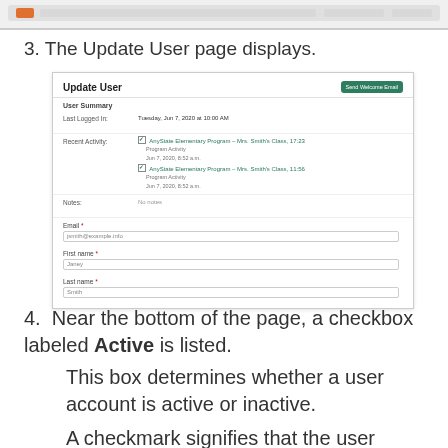[Figure (screenshot): Top of browser/application window with navigation bar, partially cropped]
3. The Update User page displays.
[Figure (screenshot): Update User page showing User Summary section with Last Logged In date, Recent Activity with checkboxes and links, Notes field, Email field, First name field, Last name field, and a Send Welcome Email button]
4. Near the bottom of the page, a checkbox labeled Active is listed.
This box determines whether a user account is active or inactive.
A checkmark signifies that the user